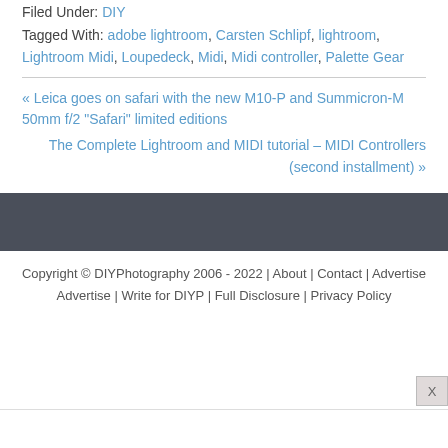Filed Under: DIY
Tagged With: adobe lightroom, Carsten Schlipf, lightroom, Lightroom Midi, Loupedeck, Midi, Midi controller, Palette Gear
« Leica goes on safari with the new M10-P and Summicron-M 50mm f/2 “Safari” limited editions
The Complete Lightroom and MIDI tutorial – MIDI Controllers (second installment) »
Copyright © DIYPhotography 2006 - 2022 | About | Contact | Advertise | Write for DIYP | Full Disclosure | Privacy Policy